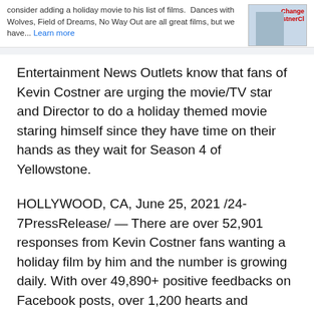consider adding a holiday movie to his list of films. Dances with Wolves, Field of Dreams, No Way Out are all great films, but we have... Learn more
[Figure (photo): Partial image showing a person and red text reading 'Change CostnerCl']
Entertainment News Outlets know that fans of Kevin Costner are urging the movie/TV star and Director to do a holiday themed movie staring himself since they have time on their hands as they wait for Season 4 of Yellowstone.
HOLLYWOOD, CA, June 25, 2021 /24-7PressRelease/ — There are over 52,901 responses from Kevin Costner fans wanting a holiday film by him and the number is growing daily. With over 49,890+ positive feedbacks on Facebook posts, over 1,200 hearts and growing on TikTok, and nearing 1,800 signatures on a petition, fans are loving the idea of Kevin Costner adding a Holiday movie to his repertoire of films and TV shows; Especially since his fans have time on their hands as they wait for